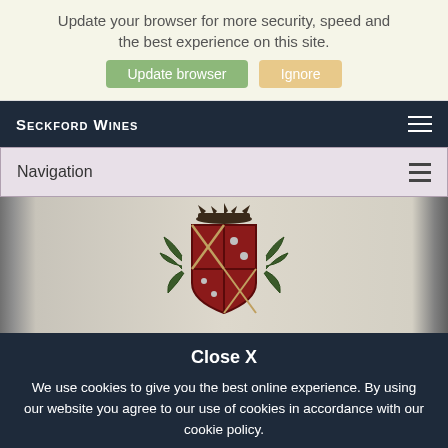Update your browser for more security, speed and the best experience on this site.
Update browser | Ignore
Seckford Wines
Navigation
[Figure (photo): Close-up of a wine bottle label showing a heraldic crest with a crown and decorative foliage in red and dark ink on a cream/white label background. Dark bottle neck visible on left and right edges.]
Close X
We use cookies to give you the best online experience. By using our website you agree to our use of cookies in accordance with our cookie policy.